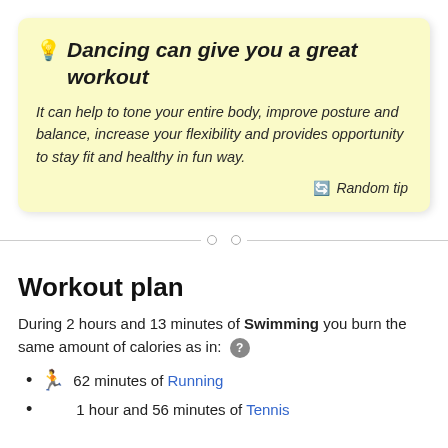Dancing can give you a great workout
It can help to tone your entire body, improve posture and balance, increase your flexibility and provides opportunity to stay fit and healthy in fun way.
Random tip
Workout plan
During 2 hours and 13 minutes of Swimming you burn the same amount of calories as in:
62 minutes of Running
1 hour and 56 minutes of Tennis